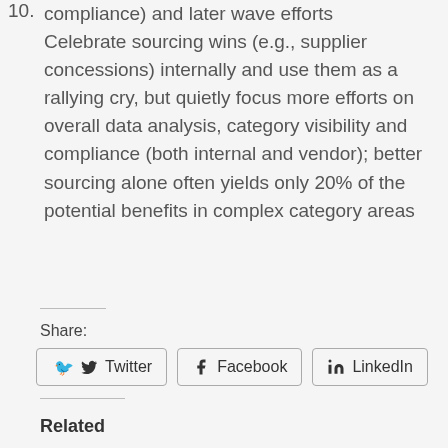10. Celebrate sourcing wins (e.g., supplier concessions) internally and use them as a rallying cry, but quietly focus more efforts on overall data analysis, category visibility and compliance (both internal and vendor); better sourcing alone often yields only 20% of the potential benefits in complex category areas
Share:
[Figure (other): Social share buttons: Twitter, Facebook, LinkedIn]
Related